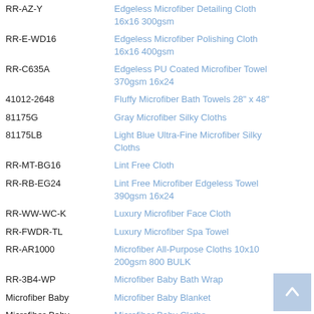| Code | Description |
| --- | --- |
| RR-AZ-Y | Edgeless Microfiber Detailing Cloth 16x16 300gsm |
| RR-E-WD16 | Edgeless Microfiber Polishing Cloth 16x16 400gsm |
| RR-C635A | Edgeless PU Coated Microfiber Towel 370gsm 16x24 |
| 41012-2648 | Fluffy Microfiber Bath Towels 28" x 48" |
| 81175G | Gray Microfiber Silky Cloths |
| 81175LB | Light Blue Ultra-Fine Microfiber Silky Cloths |
| RR-MT-BG16 | Lint Free Cloth |
| RR-RB-EG24 | Lint Free Microfiber Edgeless Towel 390gsm 16x24 |
| RR-WW-WC-K | Luxury Microfiber Face Cloth |
| RR-FWDR-TL | Luxury Microfiber Spa Towel |
| RR-AR1000 | Microfiber All-Purpose Cloths 10x10 200gsm 800 BULK |
| RR-3B4-WP | Microfiber Baby Bath Wrap |
| Microfiber Baby | Microfiber Baby Blanket |
| Microfiber-Baby- | Microfiber Baby Cloths |